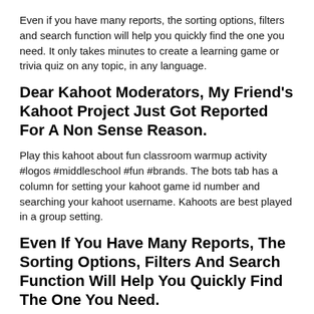Even if you have many reports, the sorting options, filters and search function will help you quickly find the one you need. It only takes minutes to create a learning game or trivia quiz on any topic, in any language.
Dear Kahoot Moderators, My Friend's Kahoot Project Just Got Reported For A Non Sense Reason.
Play this kahoot about fun classroom warmup activity #logos #middleschool #fun #brands. The bots tab has a column for setting your kahoot game id number and searching your kahoot username. Kahoots are best played in a group setting.
Even If You Have Many Reports, The Sorting Options, Filters And Search Function Will Help You Quickly Find The One You Need.